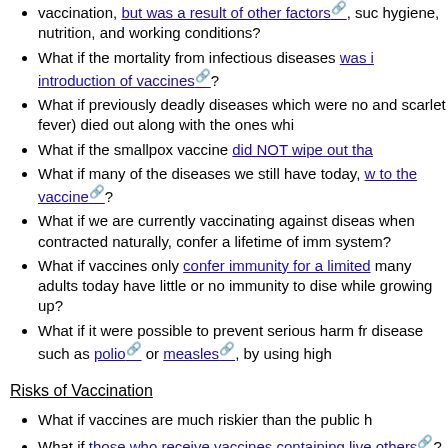vaccination, but was a result of other factors, such as improved hygiene, nutrition, and working conditions?
What if the mortality from infectious diseases was in decline before the introduction of vaccines?
What if previously deadly diseases which were not vaccinated against (like typhus and scarlet fever) died out along with the ones which were vaccinated against?
What if the smallpox vaccine did NOT wipe out that disease?
What if many of the diseases we still have today, were able to be attributed to the vaccine?
What if we are currently vaccinating against diseases that, when contracted naturally, confer a lifetime of immunity to the immune system?
What if vaccines only confer immunity for a limited period, meaning many adults today have little or no immunity to diseases they had while growing up?
What if it were possible to prevent serious harm from a dangerous disease such as polio or measles, by using high doses of vitamins?
Risks of Vaccination
What if vaccines are much riskier than the public has been led to believe?
What if those who receive vaccines containing live viruses can infect others?
What if Congress passed a law which made vaccine manufacturers immune from lawsuits in cases where vaccines caused harm?